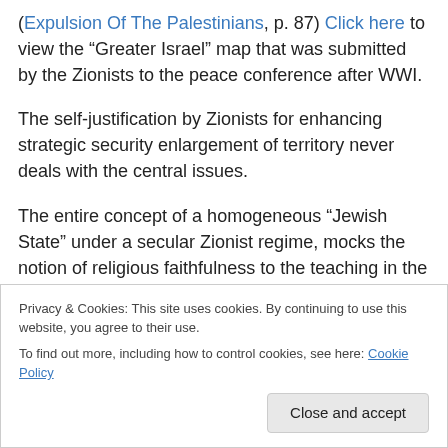(Expulsion Of The Palestinians, p. 87) Click here to view the “Greater Israel” map that was submitted by the Zionists to the peace conference after WWI.
The self-justification by Zionists for enhancing strategic security enlargement of territory never deals with the central issues.
The entire concept of a homogeneous “Jewish State” under a secular Zionist regime, mocks the notion of religious faithfulness to the teaching in the Torah. The
Privacy & Cookies: This site uses cookies. By continuing to use this website, you agree to their use.
To find out more, including how to control cookies, see here: Cookie Policy